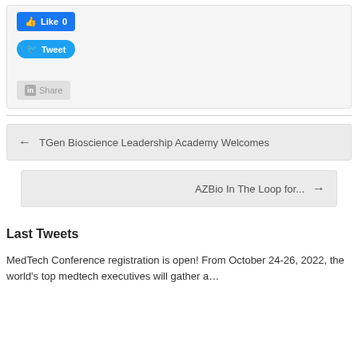[Figure (screenshot): Social sharing widget box containing Facebook Like button (showing 0 likes), Twitter Tweet button, and LinkedIn Share button]
← TGen Bioscience Leadership Academy Welcomes
AZBio In The Loop for... →
Last Tweets
MedTech Conference registration is open! From October 24-26, 2022, the world's top medtech executives will gather a…